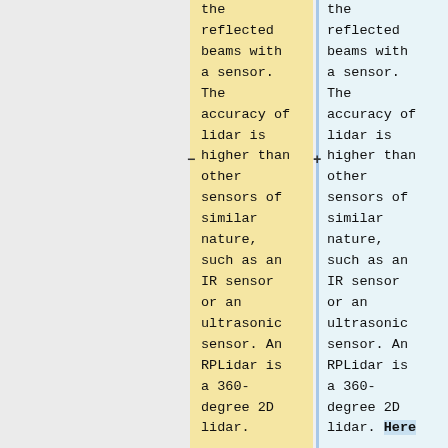the reflected beams with a sensor. The accuracy of lidar is higher than other sensors of similar nature, such as an IR sensor or an ultrasonic sensor. An RPLidar is a 360-degree 2D lidar.
the reflected beams with a sensor. The accuracy of lidar is higher than other sensors of similar nature, such as an IR sensor or an ultrasonic sensor. An RPLidar is a 360-degree 2D lidar. Here